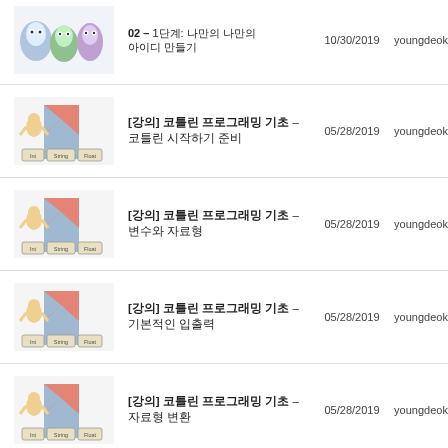[Figure (illustration): Partial row with cartoon characters (monsters/aliens) thumbnail, clipped at top]
02 - 1단계: 나만의 나만의 아이디 만들기
10/30/2019  youngdeok  Proje... Andro...
[Figure (illustration): Kotlin mascot graphic with boxes labeled Int, String, Float]
[강의] 코틀린 프로그래밍 기초 - 코틀린 시작하기 준비
05/28/2019  youngdeok  Kotlin Progr...
[Figure (illustration): Kotlin mascot graphic with boxes labeled Int, String, Float]
[강의] 코틀린 프로그래밍 기초 - 변수와 자료형
05/28/2019  youngdeok  Kotlin Progr... Opera...
[Figure (illustration): Kotlin mascot graphic with boxes labeled Int, String, Float]
[강의] 코틀린 프로그래밍 기초 - 기본적인 입출력
05/28/2019  youngdeok  Kotlin Progr...
[Figure (illustration): Kotlin mascot graphic with boxes labeled Int, String, Float]
[강의] 코틀린 프로그래밍 기초 - 자료형 변환
05/28/2019  youngdeok  Kotlin Progr...
[Figure (illustration): Kotlin mascot graphic partial, clipped at bottom]
[강의] 코틀린 프로그래밍 기초 - IntelliIDEA
05/28/2019  youngdeok  Kotlin...